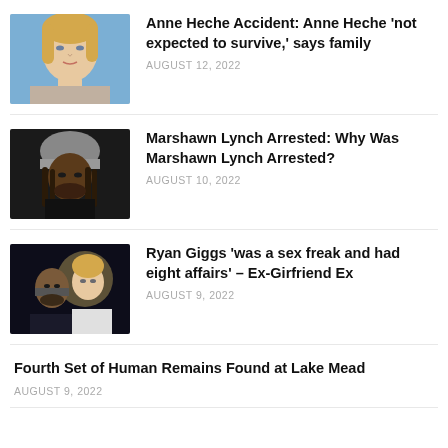[Figure (photo): Photo of Anne Heche, blonde woman looking forward]
Anne Heche Accident: Anne Heche ‘not expected to survive,’ says family
AUGUST 12, 2022
[Figure (photo): Photo of Marshawn Lynch wearing a gray beanie hat with dreadlocks]
Marshawn Lynch Arrested: Why Was Marshawn Lynch Arrested?
AUGUST 10, 2022
[Figure (photo): Photo of Ryan Giggs with a woman, dark background]
Ryan Giggs ‘was a sex freak and had eight affairs’ – Ex-Girfriend Ex
AUGUST 9, 2022
Fourth Set of Human Remains Found at Lake Mead
AUGUST 9, 2022